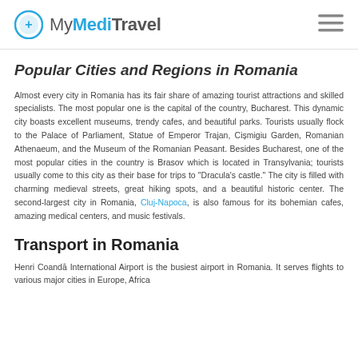MyMediTravel
Popular Cities and Regions in Romania
Almost every city in Romania has its fair share of amazing tourist attractions and skilled specialists. The most popular one is the capital of the country, Bucharest. This dynamic city boasts excellent museums, trendy cafes, and beautiful parks. Tourists usually flock to the Palace of Parliament, Statue of Emperor Trajan, Cișmigiu Garden, Romanian Athenaeum, and the Museum of the Romanian Peasant. Besides Bucharest, one of the most popular cities in the country is Brasov which is located in Transylvania; tourists usually come to this city as their base for trips to "Dracula's castle." The city is filled with charming medieval streets, great hiking spots, and a beautiful historic center. The second-largest city in Romania, Cluj-Napoca, is also famous for its bohemian cafes, amazing medical centers, and music festivals.
Transport in Romania
Henri Coandă International Airport is the busiest airport in Romania. It serves flights to various major cities in Europe, Africa...